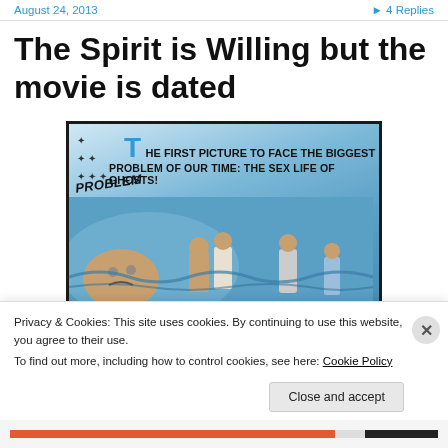August 24, 2013   ➤ 4 Replies
The Spirit is Willing but the movie is dated
[Figure (photo): Movie poster for 'The Spirit is Willing' with tagline: THE FIRST PICTURE TO FACE THE BIGGEST PROBLEM OF OUR TIME: THE SEX LIFE OF GHOSTS!]
Privacy & Cookies: This site uses cookies. By continuing to use this website, you agree to their use.
To find out more, including how to control cookies, see here: Cookie Policy